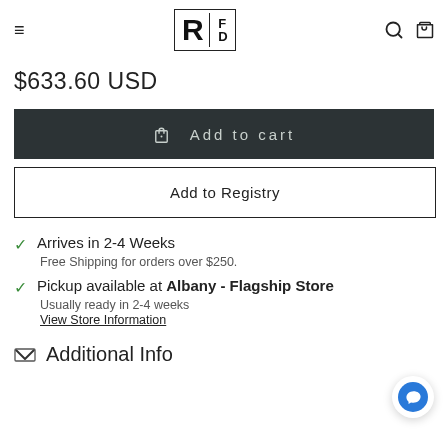RFD logo with hamburger menu, search and bag icons
$633.60 USD
Add to cart
Add to Registry
✓ Arrives in 2-4 Weeks
Free Shipping for orders over $250.
✓ Pickup available at Albany - Flagship Store
Usually ready in 2-4 weeks
View Store Information
Additional Info